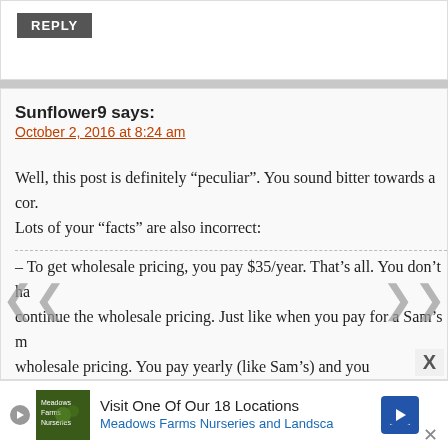REPLY
Sunflower9 says:
October 2, 2016 at 8:24 am
Well, this post is definitely “peculiar”. You sound bitter towards a com. Lots of your “facts” are also incorrect:
– To get wholesale pricing, you pay $35/year. That’s all. You don’t ha continue the wholesale pricing. Just like when you pay for a Sam’s m wholesale pricing. You pay yearly (like Sam’s) and you ge the pricin back and the following year, if you purchase your membership again, of the most popular oils for any brand) which is the cost of your mem free at that point.
– Product of the month is easy – don’t like what it is? Don’t qualify fo store and don’t like whatever they are offering (freebie, Buy 1 Get 1, here. No one shoves it down your throat.
[Figure (other): Advertisement banner: Visit One Of Our 18 Locations - Meadows Farms Nurseries and Landscape]